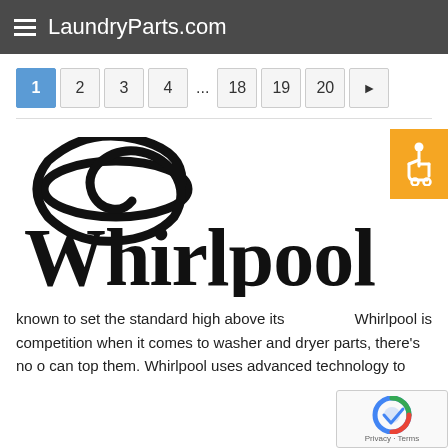LaundryParts.com
1  2  3  4  ...  18  19  20  ▶
[Figure (logo): Whirlpool brand logo with spiral swirl above the word Whirlpool in bold serif font]
Whirlpool is known to set the standard high above its competition when it comes to washer and dryer parts, there's no o can top them. Whirlpool uses advanced technology to